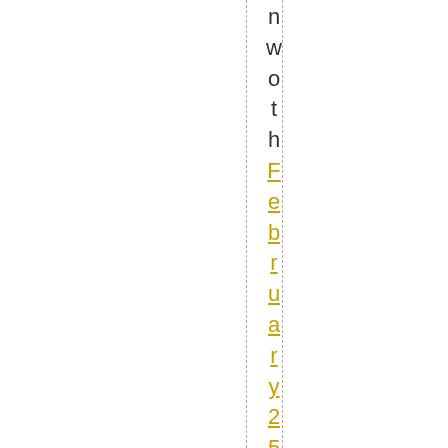n w o t h February 25, 2019 at 9:18 PM D